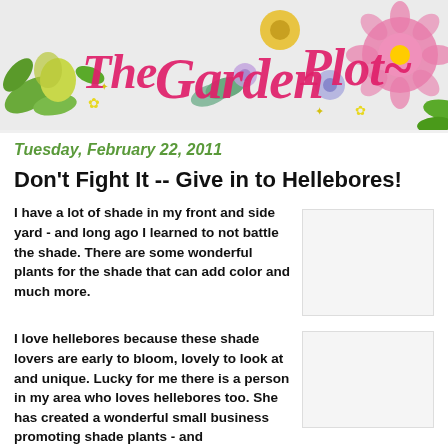[Figure (illustration): The Garden Plot blog header banner with colorful illustrated flowers and script text reading 'The Garden Plot' in pink cursive]
Tuesday, February 22, 2011
Don't Fight It -- Give in to Hellebores!
I have a lot of shade in my front and side yard - and long ago I learned to not battle the shade. There are some wonderful plants for the shade that can add color and much more.
I love hellebores because these shade lovers are early to bloom, lovely to look at and unique. Lucky for me there is a person in my area who loves hellebores too. She has created a wonderful small business promoting shade plants - and